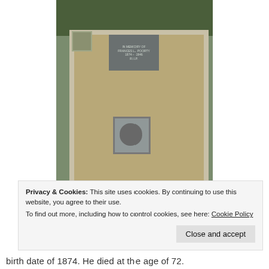[Figure (photo): Photograph of a grave plot with stone border surround, gravel interior, a dark headstone at the top with white inscription text, a small vase with flowers at the top left, and a square metal drain/vase holder in the center foreground. Green hedge visible in the background.]
Privacy & Cookies: This site uses cookies. By continuing to use this website, you agree to their use.
To find out more, including how to control cookies, see here: Cookie Policy
Close and accept
birth date of 1874. He died at the age of 72.